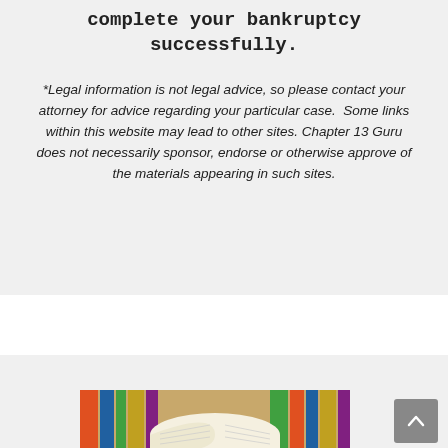complete your bankruptcy successfully.
*Legal information is not legal advice, so please contact your attorney for advice regarding your particular case.  Some links within this website may lead to other sites. Chapter 13 Guru does not necessarily sponsor, endorse or otherwise approve of the materials appearing in such sites.
[Figure (photo): Stacked books with an open book in the foreground, colorful spines visible in the background]